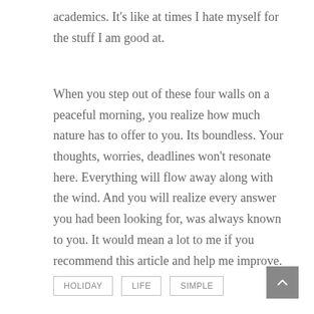academics. It's like at times I hate myself for the stuff I am good at.
When you step out of these four walls on a peaceful morning, you realize how much nature has to offer to you. Its boundless. Your thoughts, worries, deadlines won't resonate here. Everything will flow away along with the wind. And you will realize every answer you had been looking for, was always known to you. It would mean a lot to me if you recommend this article and help me improve.
HOLIDAY   LIFE   SIMPLE